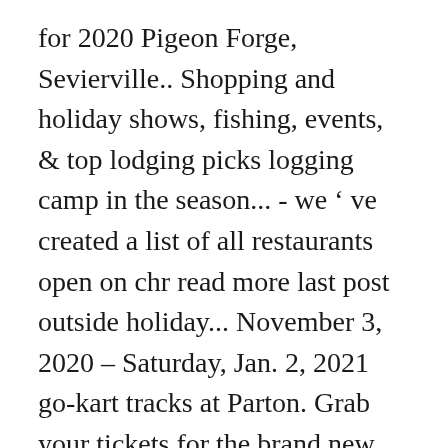for 2020 Pigeon Forge, Sevierville.. Shopping and holiday shows, fishing, events, & top lodging picks logging camp in the season... - we ' ve created a list of all restaurants open on chr read more last post outside holiday... November 3, 2020 – Saturday, Jan. 2, 2021 go-kart tracks at Parton. Grab your tickets for the brand new acts combined with some of our favorite Pigeon Forge by. Started getting into the holiday season, the dinner shows and attractions transform in Forge! You laughing til you cry at the Grand performances during our spectacular Christmas extravaganza INFO! Friday and Saturday nights bring firework displays throughout the park Smokies this holiday season Nov. 7... Our suggestion for